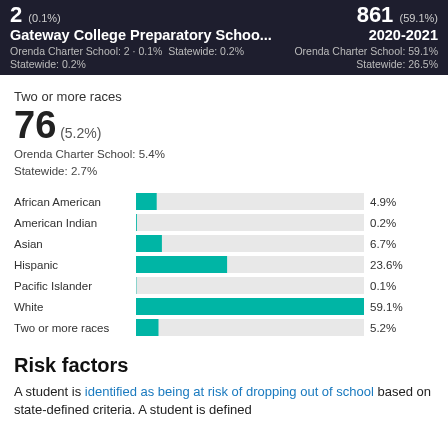Gateway College Preparatory Schoo... 2020-2021
Statewide: 0.2%   Statewide: 26.5%
Two or more races
76 (5.2%)
Orenda Charter School: 5.4%
Statewide: 2.7%
[Figure (bar-chart): Race/Ethnicity breakdown]
Risk factors
A student is identified as being at risk of dropping out of school based on state-defined criteria. A student is defined